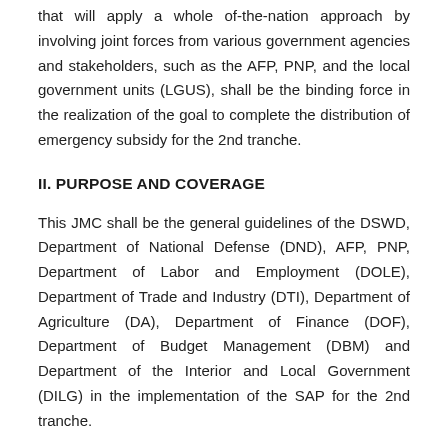that will apply a whole of-the-nation approach by involving joint forces from various government agencies and stakeholders, such as the AFP, PNP, and the local government units (LGUS), shall be the binding force in the realization of the goal to complete the distribution of emergency subsidy for the 2nd tranche.
II. PURPOSE AND COVERAGE
This JMC shall be the general guidelines of the DSWD, Department of National Defense (DND), AFP, PNP, Department of Labor and Employment (DOLE), Department of Trade and Industry (DTI), Department of Agriculture (DA), Department of Finance (DOF), Department of Budget Management (DBM) and Department of the Interior and Local Government (DILG) in the implementation of the SAP for the 2nd tranche.
In line with the directive of the President embodied in the